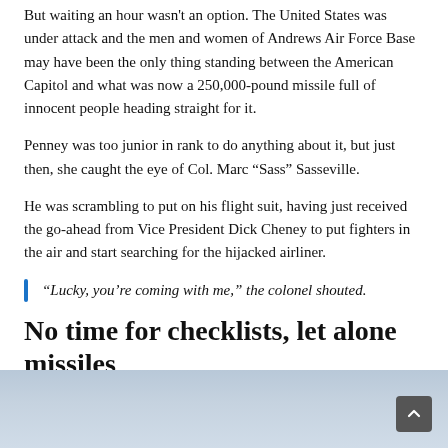But waiting an hour wasn't an option. The United States was under attack and the men and women of Andrews Air Force Base may have been the only thing standing between the American Capitol and what was now a 250,000-pound missile full of innocent people heading straight for it.
Penney was too junior in rank to do anything about it, but just then, she caught the eye of Col. Marc “Sass” Sasseville.
He was scrambling to put on his flight suit, having just received the go-ahead from Vice President Dick Cheney to put fighters in the air and start searching for the hijacked airliner.
“Lucky, you’re coming with me,” the colonel shouted.
No time for checklists, let alone missiles
[Figure (photo): Aerial or sky photograph, mostly blue-grey sky and haze, partial view of aircraft or horizon]